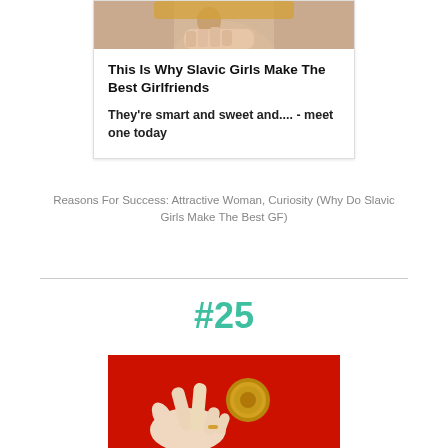[Figure (photo): Advertisement card showing a photo of a woman at the top, with bold title text and description below]
Reasons For Success: Attractive Woman, Curiosity (Why Do Slavic Girls Make The Best GF)
#25
[Figure (photo): Close-up photo of a hand making a finger-counting gesture against a red background with a gold circular object]